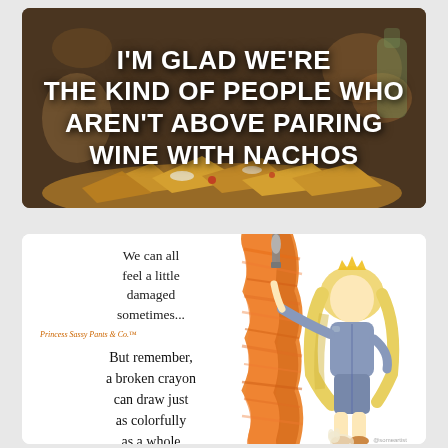[Figure (illustration): Meme image with dark food background showing nachos and text overlay: I'M GLAD WE'RE THE KIND OF PEOPLE WHO AREN'T ABOVE PAIRING WINE WITH NACHOS]
[Figure (illustration): Illustration card showing a cartoon girl with blonde hair painting an orange scribble on a wall with a paintbrush. Text reads: We can all feel a little damaged sometimes... Princess Sassy Pants & Co. But remember, a broken crayon can draw just as colorfully as a whole crayon.]